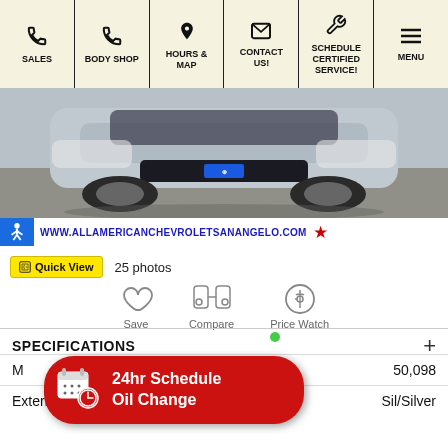SALES | BODY SHOP | HOURS & MAP | CONTACT US! | SCHEDULE CERTIFIED SERVICE! | MENU
[Figure (photo): Front view of a silver Chevrolet SUV/crossover vehicle parked on pavement]
WWW.ALLAMERICANCHEVROLETSANANGELO.COM
Quick View   25 photos
[Figure (infographic): Three icons: Save (heart), Compare (car icons), Price Watch (dollar sign)]
SPECIFICATIONS
| Field | Value |
| --- | --- |
| M[ileage] | 50,098 |
| Exterior | Sil/Silver |
24hr Schedule Oil Change